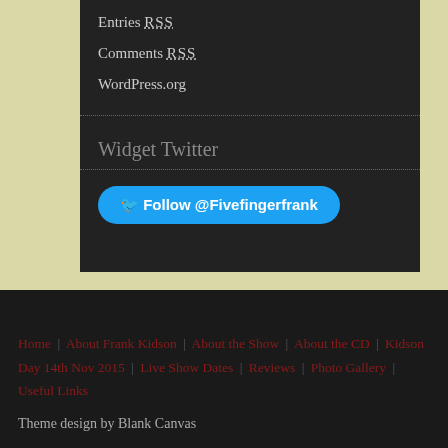Entries RSS
Comments RSS
WordPress.org
Widget Twitter
[Figure (other): Follow @Fivefingerfrank Twitter button]
Home   About Frank Kidson   About the Show   About the CD   Kidson Day 14th Nov 2015   Live Show Dates   Reviews   Photo Gallery   Useful Links
Theme design by Blank Canvas